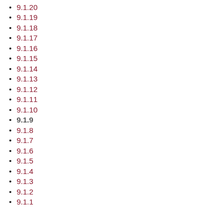9.1.20
9.1.19
9.1.18
9.1.17
9.1.16
9.1.15
9.1.14
9.1.13
9.1.12
9.1.11
9.1.10
9.1.9
9.1.8
9.1.7
9.1.6
9.1.5
9.1.4
9.1.3
9.1.2
9.1.1